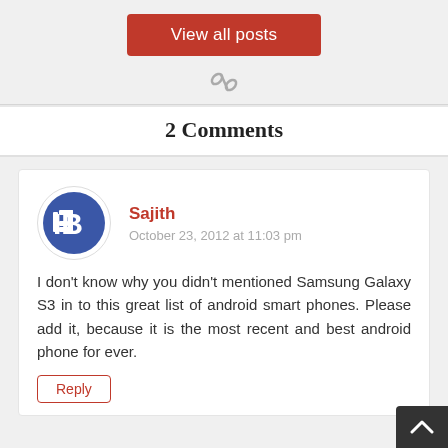View all posts
[Figure (other): Chain link / share icon]
2 Comments
[Figure (logo): TechBuzzing or similar blog avatar with 'IB' letters in blue circle]
Sajith
October 23, 2012 at 11:03 pm
I don't know why you didn't mentioned Samsung Galaxy S3 in to this great list of android smart phones. Please add it, because it is the most recent and best android phone for ever.
Reply